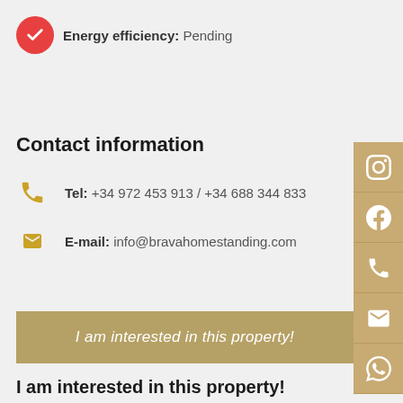Energy efficiency: Pending
Contact information
Tel: +34 972 453 913 / +34 688 344 833
E-mail: info@bravahomestanding.com
I am interested in this property!
I am interested in this property!